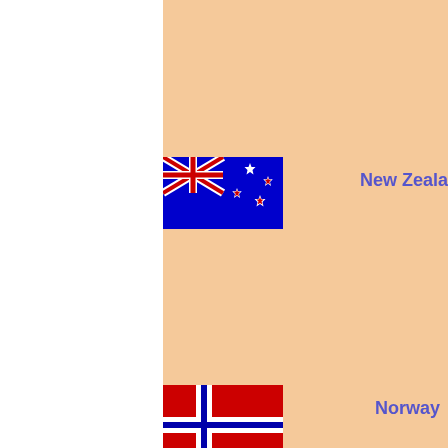[Figure (illustration): New Zealand flag: blue background with Union Jack in top-left corner and four red stars (Southern Cross) on the right]
New Zeala
[Figure (illustration): Norway flag: red background with blue and white Nordic cross]
Norway